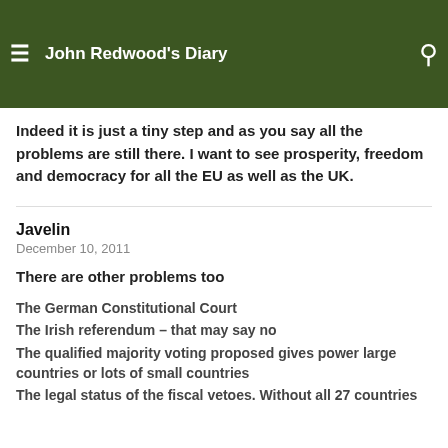John Redwood's Diary
Indeed it is just a tiny step and as you say all the problems are still there. I want to see prosperity, freedom and democracy for all the EU as well as the UK.
Javelin
December 10, 2011
There are other problems too
The German Constitutional Court
The Irish referendum – that may say no
The qualified majority voting proposed gives power large countries or lots of small countries
The legal status of the fiscal vetoes. Without all 27 countries